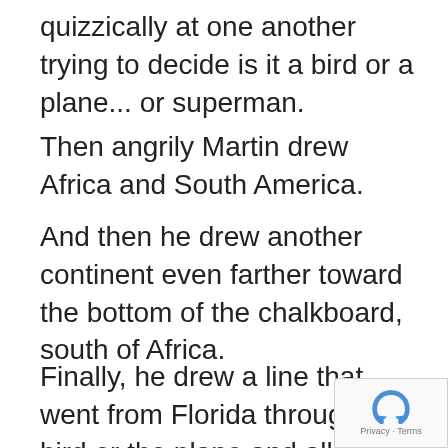quizzically at one another trying to decide is it a bird or a plane... or superman.
Then angrily Martin drew Africa and South America.
And then he drew another continent even farther toward the bottom of the chalkboard, south of Africa.
Finally, he drew a line that went from Florida through the bird or the plane and all the way to that continent south of Africa.